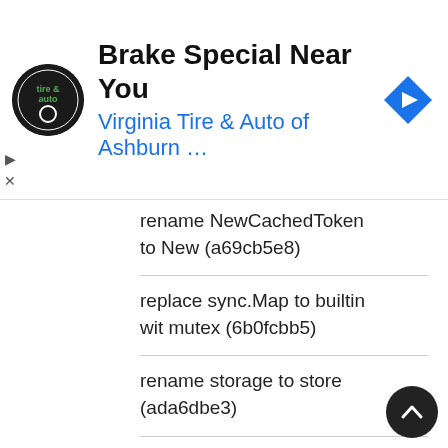[Figure (screenshot): Advertisement banner for Virginia Tire & Auto of Ashburn with logo, title 'Brake Special Near You', subtitle 'Virginia Tire & Auto of Ashburn ...', and navigation arrow icon]
rename NewCachedToken to New (a69cb5e8)
replace sync.Map to builtin wit mutex (6b0fcbb5)
rename storage to store (ada6dbe3)
Code Refactoring
basic and support custom